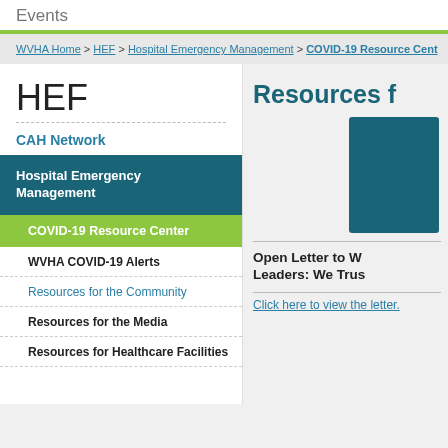Events
WVHA Home > HEF > Hospital Emergency Management > COVID-19 Resource Center
HEF
CAH Network
Hospital Emergency Management
COVID-19 Resource Center
WVHA COVID-19 Alerts
Resources for the Community
Resources for the Media
Resources for Healthcare Facilities
Resources f
[Figure (photo): Teal/dark blue rectangular image placeholder in right column]
Open Letter to W Leaders: We Trus
Click here to view the letter.